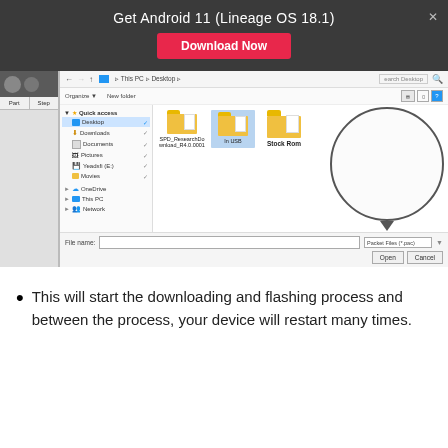Get Android 11 (Lineage OS 18.1)
[Figure (screenshot): Windows file explorer dialog showing Desktop with folders: SPD_ResearchDownload_R4.0.0001, In USB, and Stock Rom. Stock Rom folder is highlighted with a circular overlay. Bottom bar shows File name field, Packet Files (*.pac) filter, Open and Cancel buttons.]
This will start the downloading and flashing process and between the process, your device will restart many times.